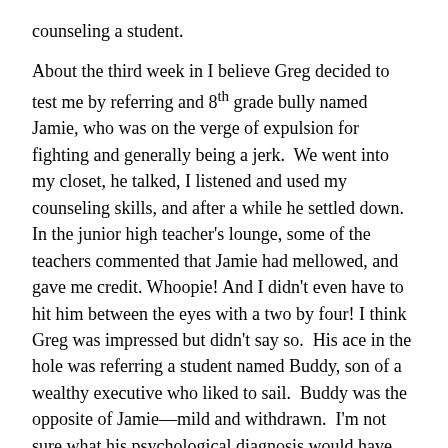counseling a student.

About the third week in I believe Greg decided to test me by referring and 8th grade bully named Jamie, who was on the verge of expulsion for fighting and generally being a jerk. We went into my closet, he talked, I listened and used my counseling skills, and after a while he settled down. In the junior high teacher's lounge, some of the teachers commented that Jamie had mellowed, and gave me credit. Whoopie! And I didn't even have to hit him between the eyes with a two by four! I think Greg was impressed but didn't say so. His ace in the hole was referring a student named Buddy, son of a wealthy executive who liked to sail. Buddy was the opposite of Jamie—mild and withdrawn. I'm not sure what his psychological diagnosis would have been, but let's just